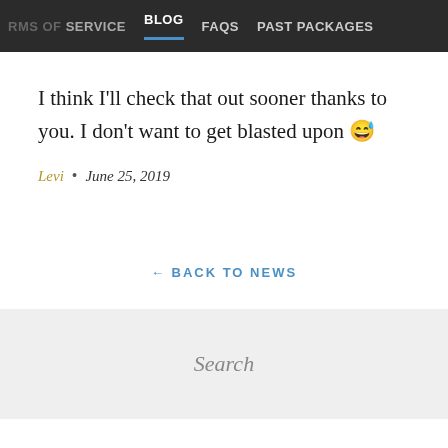RMS OF SERVICE   BLOG   FAQs   PAST PACKAGES
I think I'll check that out sooner thanks to you. I don't want to get blasted upon 😅
Levi • June 25, 2019
← BACK TO NEWS
Search